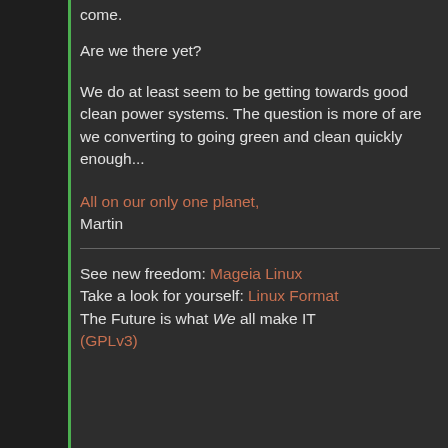come.
Are we there yet?
We do at least seem to be getting towards good clean power systems. The question is more of are we converting to going green and clean quickly enough...
All on our only one planet,
Martin
See new freedom: Mageia Linux
Take a look for yourself: Linux Format
The Future is what We all make IT (GPLv3)